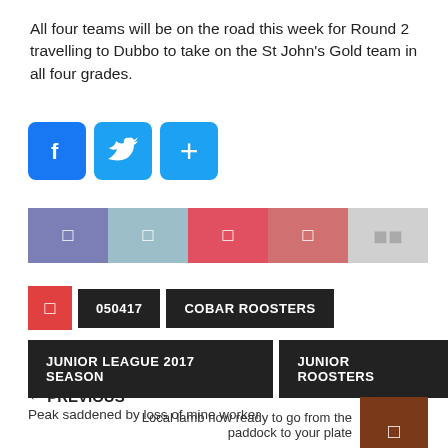All four teams will be on the road this week for Round 2 travelling to Dubbo to take on the St John's Gold team in all four grades.
[Figure (infographic): Social media share buttons: Facebook (blue), Twitter (blue), Add/Plus (blue)]
[Figure (infographic): Share bar with 5 colored segments containing icons]
050417  COBAR ROOSTERS
JUNIOR LEAGUE 2017 SEASON  JUNIOR ROOSTERS
← PREVIOUS
Peak saddened by loss of mine worker
NEXT →
Local lamb now ready to go from the paddock to your plate